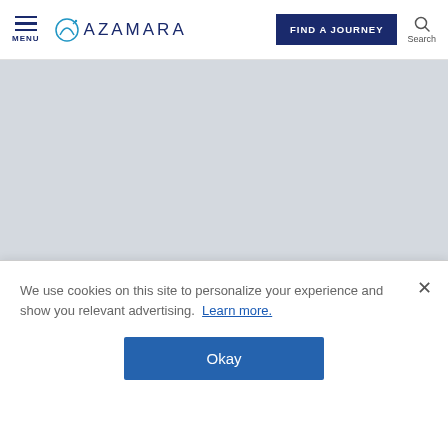MENU | AZAMARA | FIND A JOURNEY | Search
[Figure (photo): Light gray hero image area showing a cruise-related background, partially visible bold white text at bottom reading partial letters of a title]
We use cookies on this site to personalize your experience and show you relevant advertising. Learn more.
Okay